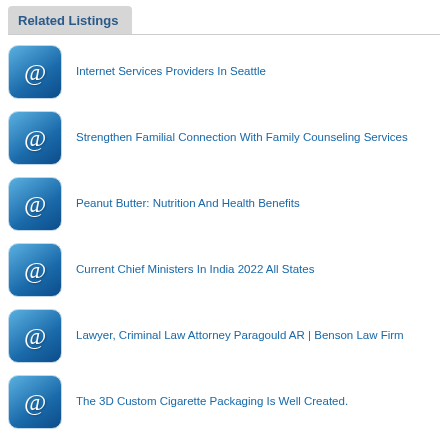Related Listings
Internet Services Providers In Seattle
Strengthen Familial Connection With Family Counseling Services
Peanut Butter: Nutrition And Health Benefits
Current Chief Ministers In India 2022 All States
Lawyer, Criminal Law Attorney Paragould AR | Benson Law Firm
The 3D Custom Cigarette Packaging Is Well Created.